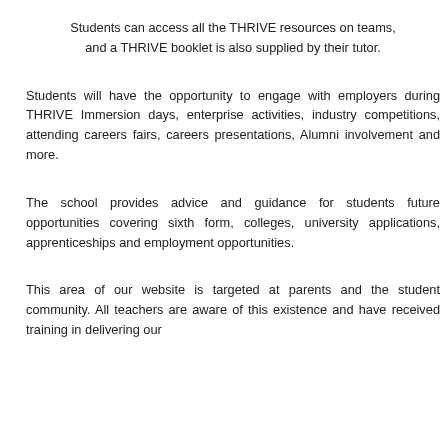Students can access all the THRIVE resources on teams, and a THRIVE booklet is also supplied by their tutor.
Students will have the opportunity to engage with employers during THRIVE Immersion days, enterprise activities, industry competitions, attending careers fairs, careers presentations, Alumni involvement and more.
The school provides advice and guidance for students future opportunities covering sixth form, colleges, university applications, apprenticeships and employment opportunities.
This area of our website is targeted at parents and the student community. All teachers are aware of this existence and have received training in delivering our